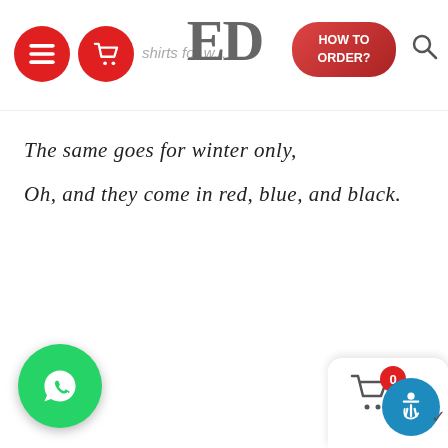Navigation bar with hamburger menu, cart icon, ED logo, HOW TO ORDER? button, and search icon
The same goes for winter only,
Oh, and they come in red, blue, and black.
[Figure (logo): WhatsApp floating button (green circle with phone icon) at bottom left]
[Figure (infographic): Cart icon with red badge showing 0, and accessibility icon (blue circle with wheelchair symbol) in bottom right corner panel]